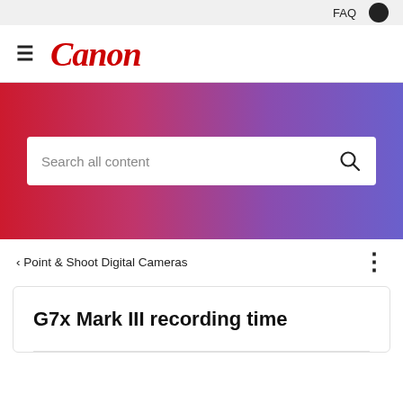FAQ
[Figure (logo): Canon logo with hamburger menu icon]
[Figure (other): Hero banner with red to purple gradient background containing a search box with placeholder 'Search all content' and a search icon]
< Point & Shoot Digital Cameras
G7x Mark III recording time